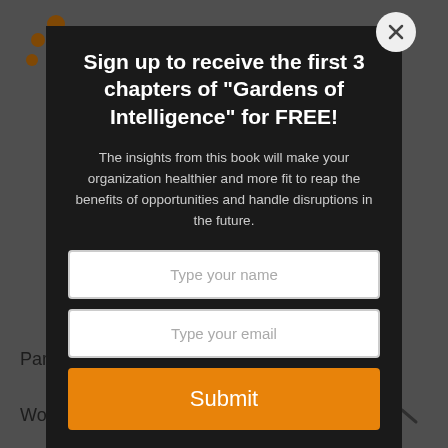[Figure (logo): Comintelli orange dots logo in top left corner of background page]
Partners
Work at Comintelli
Sign up to receive the first 3 chapters of "Gardens of Intelligence" for FREE!
The insights from this book will make your organization healthier and more fit to reap the benefits of opportunities and handle disruptions in the future.
Type your name
Type your email
Submit